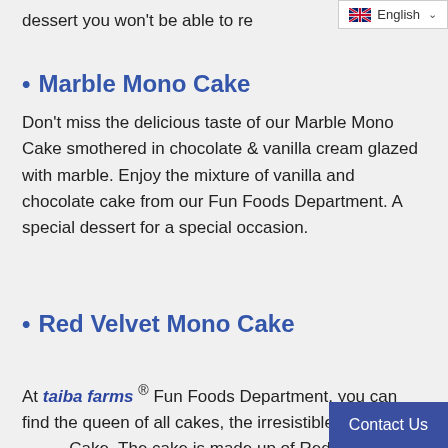dessert you won't be able to re…
[Figure (screenshot): Language selector dropdown showing 'English' with a UK flag icon]
• Marble Mono Cake
Don't miss the delicious taste of our Marble Mono Cake smothered in chocolate & vanilla cream glazed with marble. Enjoy the mixture of vanilla and chocolate cake from our Fun Foods Department. A special dessert for a special occasion.
• Red Velvet Mono Cake
At taiba farms ® Fun Foods Department, you can find the queen of all cakes, the irresistible Red Velvet Mono Cake. The cake is made up of Red velvet…